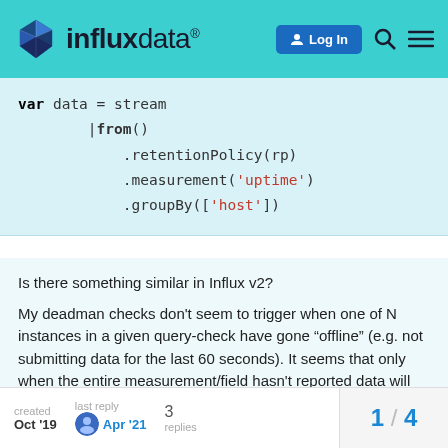[Figure (logo): InfluxData logo and navigation header with teal background, Log In button, search and menu icons]
var data = stream
    |from()
        .retentionPolicy(rp)
        .measurement('uptime')
        .groupBy(['host'])
Is there something similar in Influx v2?
My deadman checks don't seem to trigger when one of N instances in a given query-check have gone “offline” (e.g. not submitting data for the last 60 seconds). It seems that only when the entire measurement/field hasn't reported data will the check trigger.
created Oct '19   last reply Apr '21   3 replies   1 / 4